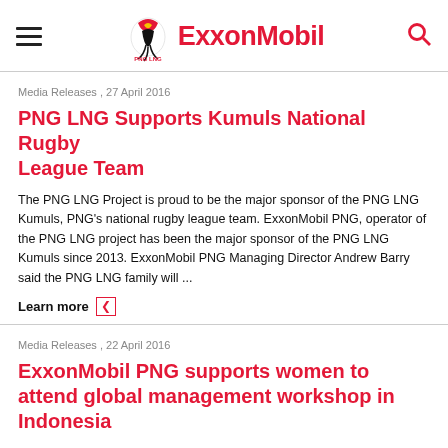PNG LNG ExxonMobil
Media Releases , 27 April 2016
PNG LNG Supports Kumuls National Rugby League Team
The PNG LNG Project is proud to be the major sponsor of the PNG LNG Kumuls, PNG's national rugby league team. ExxonMobil PNG, operator of the PNG LNG project has been the major sponsor of the PNG LNG Kumuls since 2013. ExxonMobil PNG Managing Director Andrew Barry said the PNG LNG family will ...
Learn more
Media Releases , 22 April 2016
ExxonMobil PNG supports women to attend global management workshop in Indonesia
Nine Papua New Guinean women recently left for Jakarta